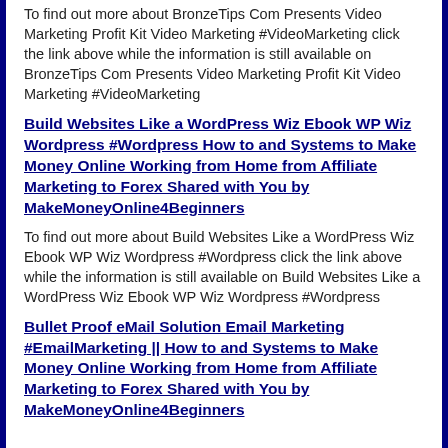To find out more about BronzeTips Com Presents Video Marketing Profit Kit Video Marketing #VideoMarketing click the link above while the information is still available on BronzeTips Com Presents Video Marketing Profit Kit Video Marketing #VideoMarketing
Build Websites Like a WordPress Wiz Ebook WP Wiz Wordpress #Wordpress How to and Systems to Make Money Online Working from Home from Affiliate Marketing to Forex Shared with You by MakeMoneyOnline4Beginners
To find out more about Build Websites Like a WordPress Wiz Ebook WP Wiz Wordpress #Wordpress click the link above while the information is still available on Build Websites Like a WordPress Wiz Ebook WP Wiz Wordpress #Wordpress
Bullet Proof eMail Solution Email Marketing #EmailMarketing || How to and Systems to Make Money Online Working from Home from Affiliate Marketing to Forex Shared with You by MakeMoneyOnline4Beginners